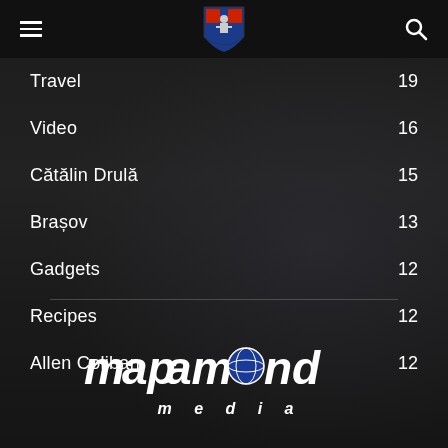Navigation header with hamburger menu, coat of arms logo, and search icon
Travel 19
Video 16
Cătălin Drulă 15
Brașov 13
Gadgets 12
Recipes 12
Allen Coliban 12
[Figure (logo): Mapamond Media logo — bold italic white text with a globe icon replacing the 'o' in mapamond, subtitle 'media' in spaced letters below]
mapamond media